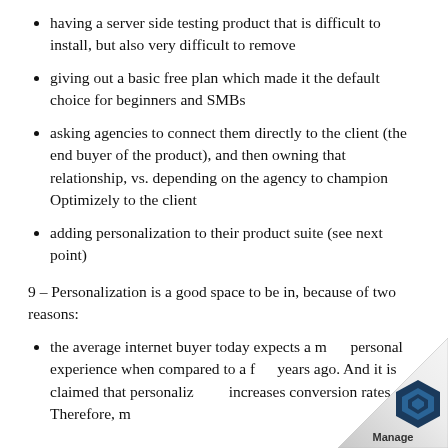having a server side testing product that is difficult to install, but also very difficult to remove
giving out a basic free plan which made it the default choice for beginners and SMBs
asking agencies to connect them directly to the client (the end buyer of the product), and then owning that relationship, vs. depending on the agency to champion Optimizely to the client
adding personalization to their product suite (see next point)
9 – Personalization is a good space to be in, because of two reasons:
the average internet buyer today expects a more personal experience when compared to a few years ago. And it is claimed that personalization increases conversion rates. Therefore, m…
[Figure (logo): Manage logo with blue hexagonal icon in bottom right corner, with page curl effect]